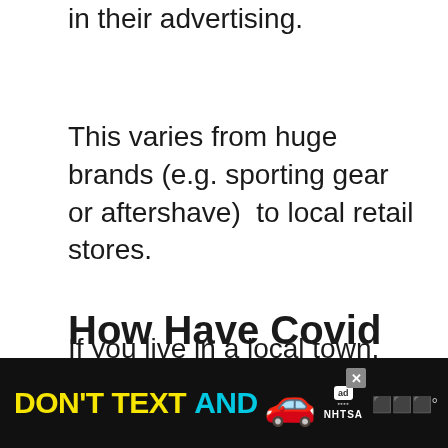in their advertising.
This varies from huge brands (e.g. sporting gear or aftershave)  to local retail stores.
If you live in a local town, you may see the images of lesser-known players promoting local businesses.
How Have Covid Restrictions Impacted Salaries?
[Figure (photo): Advertisement banner at bottom of page: black background with yellow text 'DON'T TEXT' and cyan text 'AND' followed by a red car emoji, an 'ad' logo box, and 'NHTSA' branding, with a close (X) button and weather icon on the right.]